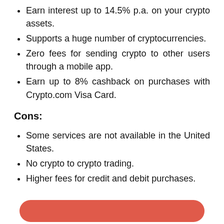Earn interest up to 14.5% p.a. on your crypto assets.
Supports a huge number of cryptocurrencies.
Zero fees for sending crypto to other users through a mobile app.
Earn up to 8% cashback on purchases with Crypto.com Visa Card.
Cons:
Some services are not available in the United States.
No crypto to crypto trading.
Higher fees for credit and debit purchases.
[Figure (other): Red/coral rounded rectangle button at the bottom of the page]